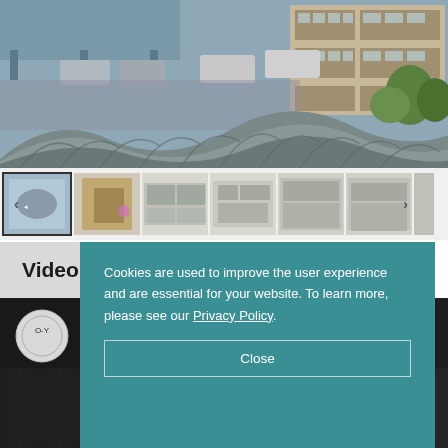[Figure (photo): Aerial view of an apartment complex with a curved corrugated metal roof in the foreground, parking area with cars, and multi-storey residential buildings in the background surrounded by trees.]
[Figure (photo): Horizontal thumbnail strip showing multiple interior and exterior photos of a property, with navigation arrows and an active/selected first thumbnail.]
Video Tour
[Figure (screenshot): Video player area showing a property video tour with a logo visible in the upper-left corner.]
Cookies are used to improve the user experience and are essential for your website. To learn more, please see our Privacy Policy.
Close